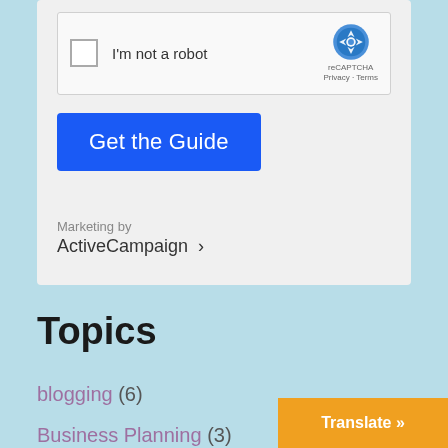[Figure (screenshot): reCAPTCHA widget with checkbox labeled 'I'm not a robot' and reCAPTCHA logo on the right with 'Privacy - Terms' text]
Get the Guide
Marketing by
ActiveCampaign >
Topics
blogging (6)
Business Planning (3)
Coaching (2)
Translate »